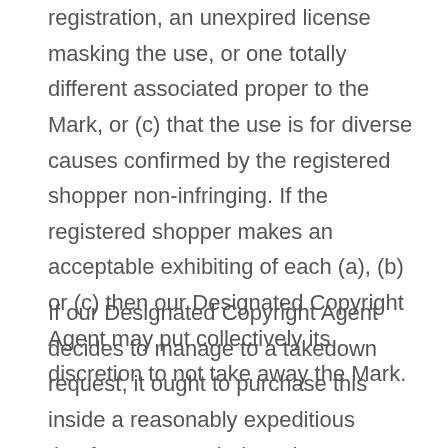registration, an unexpired license masking the use, or one totally different associated proper to the Mark, or (c) that the use is for diverse causes confirmed by the registered shopper non-infringing. If the registered shopper makes an acceptable exhibiting of each (a), (b) or (c) then our Designated Copyright Agent may put collectively its discretion to not take away the Mark.
If our Designated Copyright Agent decides to manage to a takedown request, it ought to purchase this inside a reasonably expeditious timeframe. Nonetheless the foregoing, our Designated Copyright Agent will comply as